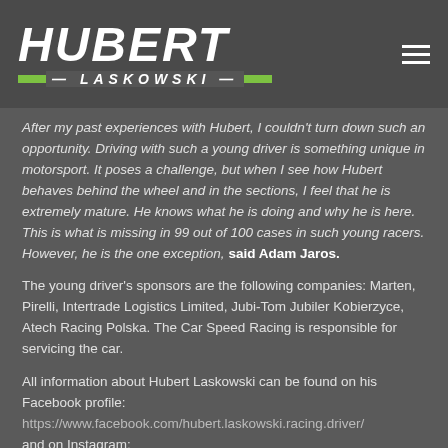HUBERT LASKOWSKI
After my past experiences with Hubert, I couldn't turn down such an opportunity. Driving with such a young driver is something unique in motorsport. It poses a challenge, but when I see how Hubert behaves behind the wheel and in the sections, I feel that he is extremely mature. He knows what he is doing and why he is here. This is what is missing in 99 out of 100 cases in such young racers. However, he is the one exception, said Adam Jaros.
The young driver's sponsors are the following companies: Marten, Pirelli, Intertrade Logistics Limited, Jubi-Tom Jubiler Kobierzyce, Atech Racing Polska. The Car Speed Racing is responsible for servicing the car.
All information about Hubert Laskowski can be found on his Facebook profile: https://www.facebook.com/hubert.laskowski.racing.driver/ and on Instagram: https://www.instagram.com/hubert_laskowski/. We